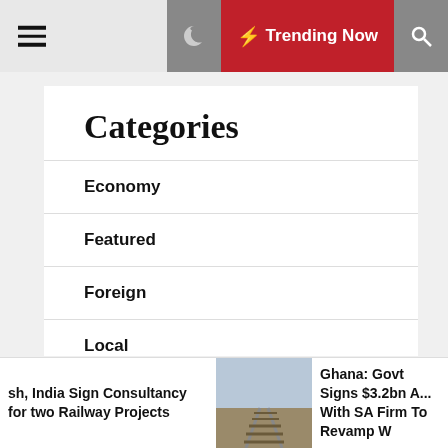☰  🌙  ⚡ Trending Now  🔍
Categories
Economy
Featured
Foreign
Local
News
Operations
sh, India Sign Consultancy for two Railway Projects   Ghana: Govt Signs $3.2bn ... With SA Firm To Revamp W